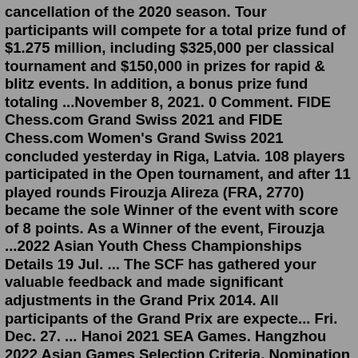cancellation of the 2020 season. Tour participants will compete for a total prize fund of $1.275 million, including $325,000 per classical tournament and $150,000 in prizes for rapid & blitz events. In addition, a bonus prize fund totaling ...November 8, 2021. 0 Comment. FIDE Chess.com Grand Swiss 2021 and FIDE Chess.com Women's Grand Swiss 2021 concluded yesterday in Riga, Latvia. 108 players participated in the Open tournament, and after 11 played rounds Firouzja Alireza (FRA, 2770) became the sole Winner of the event with score of 8 points. As a Winner of the event, Firouzja ...2022 Asian Youth Chess Championships Details 19 Jul. ... The SCF has gathered your valuable feedback and made significant adjustments in the Grand Prix 2014. All participants of the Grand Prix are expecte... Fri. Dec. 27. ... Hanoi 2021 SEA Games. Hangzhou 2022 Asian Games Selection Criteria. Nomination Polic y. Search Our Site.Feb 19 2022. Regular Season: Week 2. Feb 26 2022. Regular Season: Week 3. Mar 05 2022. Regular Season: Week 4. Mar 12 2022. Corporate vs